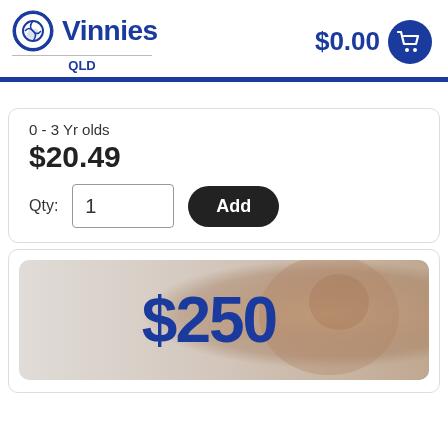Vinnies QLD
$0.00
0 - 3 Yr olds
$20.49
Qty: 1
Add
[Figure (photo): Voucher card showing $250 with a blurred child face in the background]